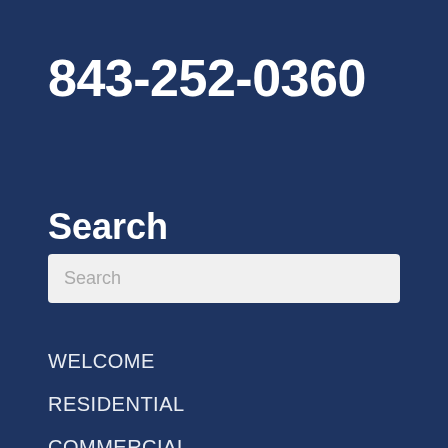843-252-0360
Search
Search
WELCOME
RESIDENTIAL
COMMERCIAL
PRODUCTS